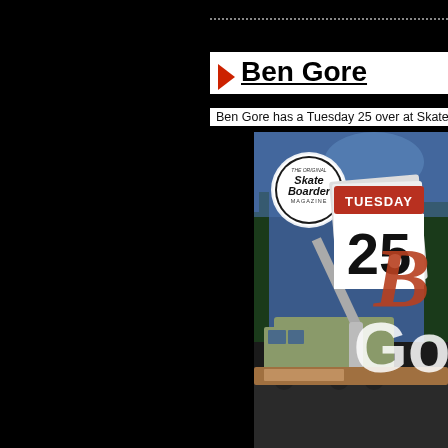Ben Gore
Ben Gore has a Tuesday 25 over at Skateboarder. C
[Figure (photo): Skateboarder Magazine Tuesday 25 feature cover image showing Ben Gore, with a crane truck on a road. A calendar page showing 'TUESDAY 25' overlaid on the image along with the Skate Boarder Magazine logo and large italic 'B' and 'Go' letters.]